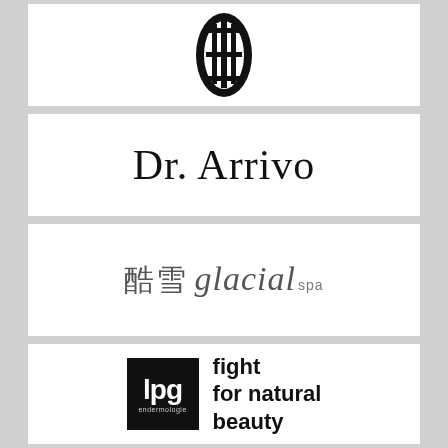[Figure (logo): Abstract black oval logo with Japanese/Chinese characters inside, resembling a stylized face or symbol]
[Figure (logo): Dr. Arrivo brand logo in elegant serif font]
[Figure (logo): 酷雪 glacial spa logo combining Chinese characters and italic serif Latin text]
[Figure (logo): LPG endermologie logo: black square with LPG letters and text 'fight for natural beauty']